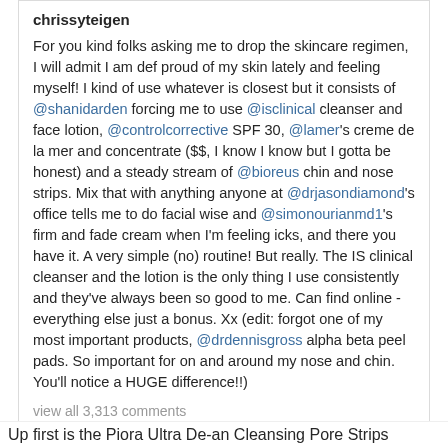chrissyteigen
For you kind folks asking me to drop the skincare regimen, I will admit I am def proud of my skin lately and feeling myself! I kind of use whatever is closest but it consists of @shanidarden forcing me to use @isclinical cleanser and face lotion, @controlcorrective SPF 30, @lamer's creme de la mer and concentrate ($$, I know I know but I gotta be honest) and a steady stream of @bioreus chin and nose strips. Mix that with anything anyone at @drjasondiamond's office tells me to do facial wise and @simonourianmd1's firm and fade cream when I'm feeling icks, and there you have it. A very simple (no) routine! But really. The IS clinical cleanser and the lotion is the only thing I use consistently and they've always been so good to me. Can find online - everything else just a bonus. Xx (edit: forgot one of my most important products, @drdennisgross alpha beta peel pads. So important for on and around my nose and chin. You'll notice a HUGE difference!!)
view all 3,313 comments
Add a comment...
Up first is the Piora Ultra De-an Cleansing Pore Strips